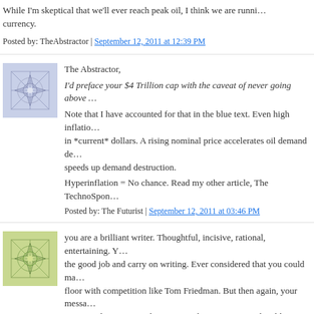While I'm skeptical that we'll ever reach peak oil, I think we are running out of currency.
Posted by: TheAbstractor | September 12, 2011 at 12:39 PM
The Abstractor,
I'd preface your $4 Trillion cap with the caveat of never going above...
Note that I have accounted for that in the blue text. Even high inflation prices are in *current* dollars. A rising nominal price accelerates oil demand destruction and speeds up demand destruction.
Hyperinflation = No chance. Read my other article, The TechnoSpon...
Posted by: The Futurist | September 12, 2011 at 03:46 PM
you are a brilliant writer. Thoughtful, incisive, rational, entertaining. You carry the good job and carry on writing. Ever considered that you could mop the floor with competition like Tom Friedman. But then again, your messages are a good counterweight to some other American-Indian bloggers, won't name them here as it just gives them more publicity
Posted by: DoesNotMatter | September 18, 2011 at 09:35 PM
Politics matter
Obama kills: SolarCity: 160k solars on private mil. roofs=1.6m silver...